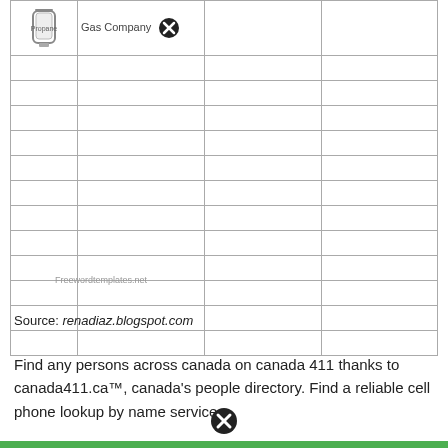|  |  |  |  |
| --- | --- | --- | --- |
| [gas cylinder icon] | Gas Company [X] |  |  |
|  |  |  |  |
|  |  |  |  |
|  |  |  |  |
|  |  |  |  |
|  |  |  |  |
|  |  |  |  |
|  |  |  |  |
|  |  |  |  |
|  |  |  |  |
|  |  |  |  |
|  |  |  |  |
|  |  |  |  |
Freewordtemplates.net
Source: renadiaz.blogspot.com
Find any persons across canada on canada 411 thanks to canada411.ca™, canada's people directory. Find a reliable cell phone lookup by name service.
[Figure (other): Close/X button icon at the bottom of the page]